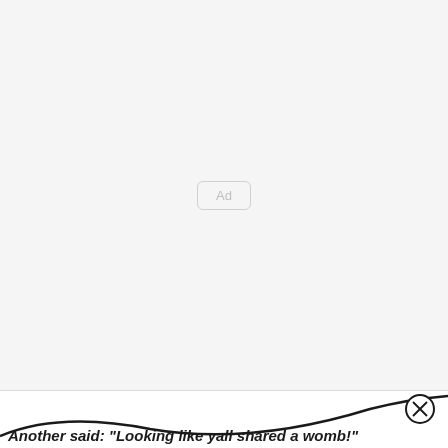[Figure (other): Empty advertisement placeholder box with 'Ad' label, centered in a light gray background area]
Another said: "Looking like yall shared a womb!"